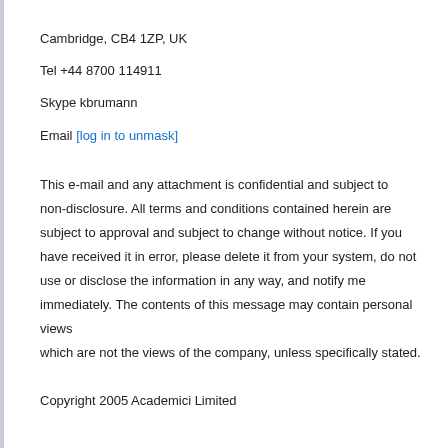Cambridge, CB4 1ZP, UK
Tel +44 8700 114911
Skype kbrumann
Email [log in to unmask]
This e-mail and any attachment is confidential and subject to non-disclosure. All terms and conditions contained herein are subject to approval and subject to change without notice. If you have received it in error, please delete it from your system, do not use or disclose the information in any way, and notify me immediately. The contents of this message may contain personal views which are not the views of the company, unless specifically stated.
Copyright 2005 Academici Limited